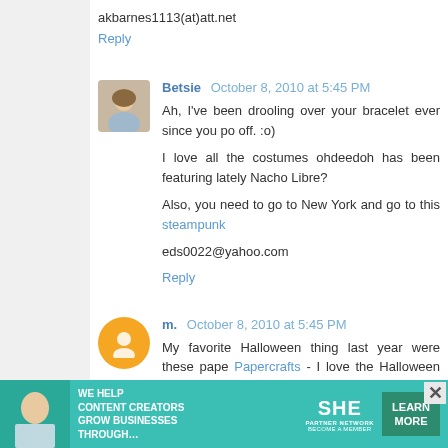akbarnes1113(at)att.net
Reply
Betsie  October 8, 2010 at 5:45 PM
Ah, I've been drooling over your bracelet ever since you po off. :o)
I love all the costumes ohdeedoh has been featuring lately Nacho Libre?
Also, you need to go to New York and go to this steampunk
eds0022@yahoo.com
Reply
m.  October 8, 2010 at 5:45 PM
My favorite Halloween thing last year were these pape Papercrafts - I love the Halloween Tree especially and can't
Orange is my color, October is my month and my ema
Reply
[Figure (infographic): Advertisement banner: SHE Partner Network - We help content creators grow businesses through...]